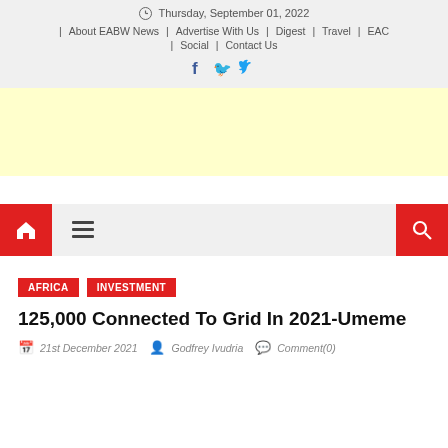Thursday, September 01, 2022
| About EABW News | Advertise With Us | Digest | Travel | EAC | Social | Contact Us
[Figure (other): Facebook and Twitter social icons]
[Figure (other): Yellow advertisement banner]
[Figure (other): Navigation bar with home button, hamburger menu, and search button]
AFRICA   INVESTMENT
125,000 Connected To Grid In 2021-Umeme
21st December 2021   Godfrey Ivudria   Comment(0)